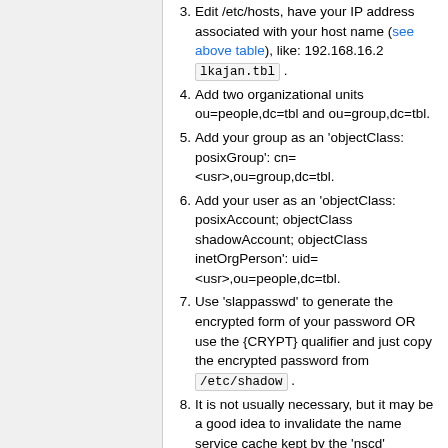3. Edit /etc/hosts, have your IP address associated with your host name (see above table), like: 192.168.16.2 lkajan.tbl .
4. Add two organizational units ou=people,dc=tbl and ou=group,dc=tbl.
5. Add your group as an 'objectClass: posixGroup': cn=<usr>,ou=group,dc=tbl.
6. Add your user as an 'objectClass: posixAccount; objectClass shadowAccount; objectClass inetOrgPerson': uid=<usr>,ou=people,dc=tbl.
7. Use 'slappasswd' to generate the encrypted form of your password OR use the {CRYPT} qualifier and just copy the encrypted password from /etc/shadow .
8. It is not usually necessary, but it may be a good idea to invalidate the name service cache kept by the 'nscd' daemon after modifying user and group attributes: nscd -i passwd; nscd